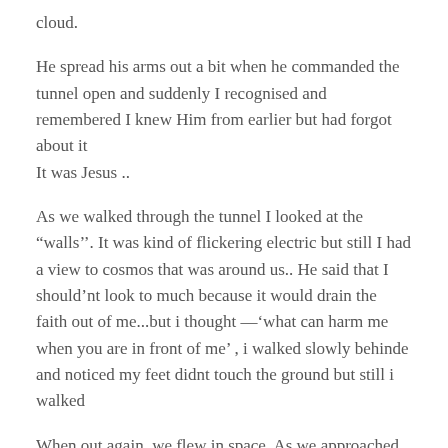cloud.
He spread his arms out a bit when he commanded the tunnel open and suddenly I recognised and remembered I knew Him from earlier but had forgot about it It was Jesus ..
As we walked through the tunnel I looked at the “walls’’. It was kind of flickering electric but still I had a view to cosmos that was around us.. He said that I should’nt look to much because it would drain the faith out of me...but i thought —‘what can harm me when you are in front of me’ , i walked slowly behinde and noticed my feet didnt touch the ground but still i walked
When out again, we flew in space. As we approached our destination I saw multiple glittering colors and music. He